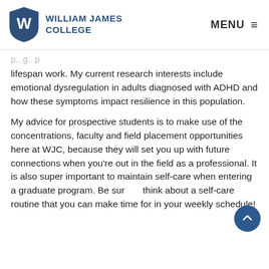William James College | MENU
lifespan work. My current research interests include emotional dysregulation in adults diagnosed with ADHD and how these symptoms impact resilience in this population.
My advice for prospective students is to make use of the concentrations, faculty and field placement opportunities here at WJC, because they will set you up with future connections when you're out in the field as a professional. It is also super important to maintain self-care when entering a graduate program. Be sure to think about a self-care routine that you can make time for in your weekly schedule!